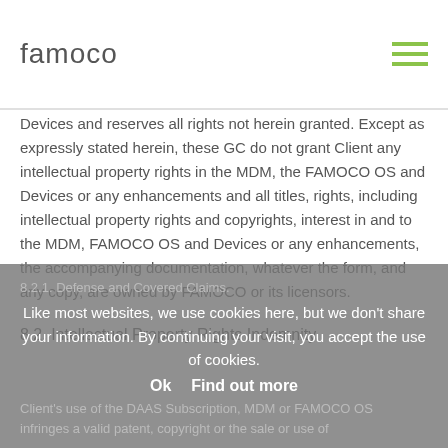famoco
Devices and reserves all rights not herein granted. Except as expressly stated herein, these GC do not grant Client any intellectual property rights in the MDM, the FAMOCO OS and Devices or any enhancements and all titles, rights, including intellectual property rights and copyrights, interest in and to the MDM, FAMOCO OS and Devices or any enhancements, the accompanying documentation, whatever the form, and any copy, are owned by FAMOCO or its licensors.
8.2. Intellectual Property Rights Indemnity.
8.2.1. Defense and Covered Claims.
Like most websites, we use cookies here, but we don't share your information. By continuing your visit, you accept the use of cookies.
Ok  Find out more
If FAMOCO receives a valid claim or has reason to believe that Client's use of the DAAS Subscription, MDM or FAMOCO OS infringes a valid patent, copyright or the sale or use of